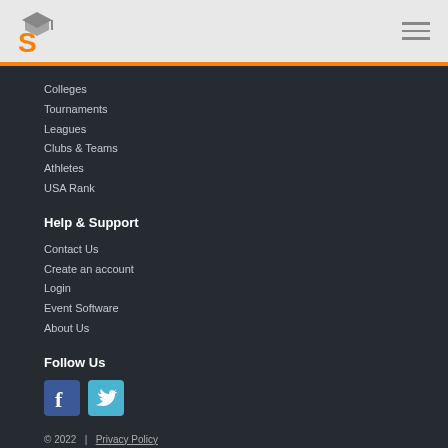S [logo] [hamburger menu]
Colleges
Tournaments
Leagues
Clubs & Teams
Athletes
USA Rank
Help & Support
Contact Us
Create an account
Login
Event Software
About Us
Follow Us
[Figure (logo): Facebook icon button]
[Figure (logo): Twitter icon button]
© 2022  |  Privacy Policy